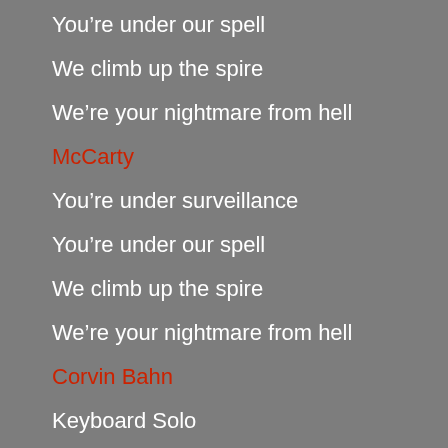You’re under our spell
We climb up the spire
We’re your nightmare from hell
McCarty
You’re under surveillance
You’re under our spell
We climb up the spire
We’re your nightmare from hell
Corvin Bahn
Keyboard Solo
McCarty